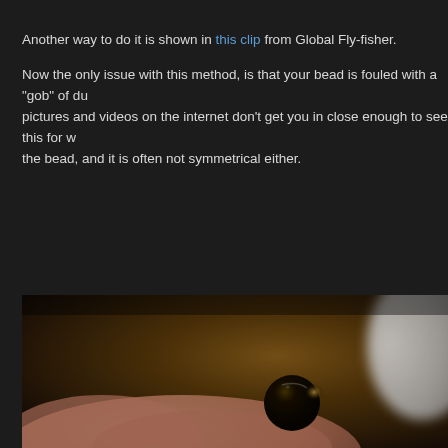Another way to do it is shown in this clip from Global Fly-fisher.
Now the only issue with this method, is that your bead is fouled with a "gob" of du... pictures and videos on the internet don't get you in close enough to see this for w... the bead, and it is often not symmetrical either.
[Figure (photo): Close-up macro photograph of a small dark fishing bead (tungsten or glass bead) held between fingers, with a blurred lighter-colored object in the upper right background and a warm brown/orange blurred background.]